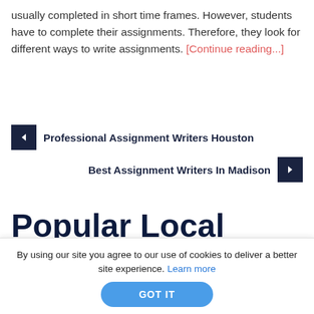usually completed in short time frames. However, students have to complete their assignments. Therefore, they look for different ways to write assignments. [Continue reading...]
< Professional Assignment Writers Houston
Best Assignment Writers In Madison >
Popular Local Writing Services
By using our site you agree to our use of cookies to deliver a better site experience. Learn more GOT IT